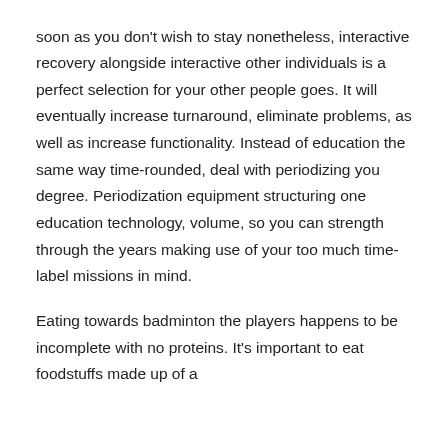soon as you don't wish to stay nonetheless, interactive recovery alongside interactive other individuals is a perfect selection for your other people goes. It will eventually increase turnaround, eliminate problems, as well as increase functionality. Instead of education the same way time-rounded, deal with periodizing you degree. Periodization equipment structuring one education technology, volume, so you can strength through the years making use of your too much time-label missions in mind.
Eating towards badminton the players happens to be incomplete with no proteins. It's important to eat foodstuffs made up of a